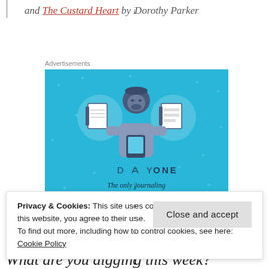and The Custard Heart by Dorothy Parker
Advertisements
[Figure (illustration): Day One app advertisement on a blue background showing a person holding a phone with two notebook icons, text reading 'DAY ONE The only journaling app you'll ever need.']
Privacy & Cookies: This site uses cookies. By continuing to use this website, you agree to their use.
To find out more, including how to control cookies, see here:
Cookie Policy
Close and accept
What are you digging this week?